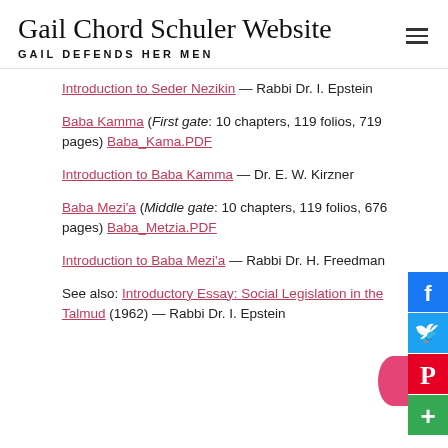Gail Chord Schuler Website — GAIL DEFENDS HER MEN
Introduction to Seder Nezikin — Rabbi Dr. I. Epstein
Baba Kamma (First gate: 10 chapters, 119 folios, 719 pages) Baba_Kama.PDF
Introduction to Baba Kamma — Dr. E. W. Kirzner
Baba Mezi'a (Middle gate: 10 chapters, 119 folios, 676 pages) Baba_Metzia.PDF
Introduction to Baba Mezi'a — Rabbi Dr. H. Freedman
See also: Introductory Essay: Social Legislation in the Talmud (1962) — Rabbi Dr. I. Epstein